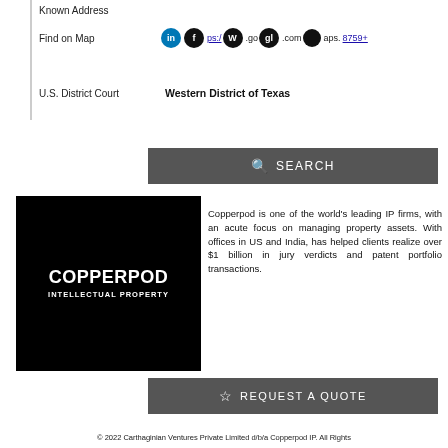Known Address
Find on Map [social icons] https://www.google.com/maps... 8759+
U.S. District Court  Western District of Texas
[Figure (other): Search button with magnifying glass icon and text SEARCH]
[Figure (logo): Copperpod Intellectual Property logo - white text on black background]
Copperpod is one of the world's leading IP firms, with an acute focus on managing property assets. With offices in US and India, has helped clients realize over $1 billion in jury verdicts and patent portfolio transactions.
[Figure (other): Request A Quote button with star icon]
© 2022 Carthaginian Ventures Private Limited d/b/a Copperpod IP. All Rights